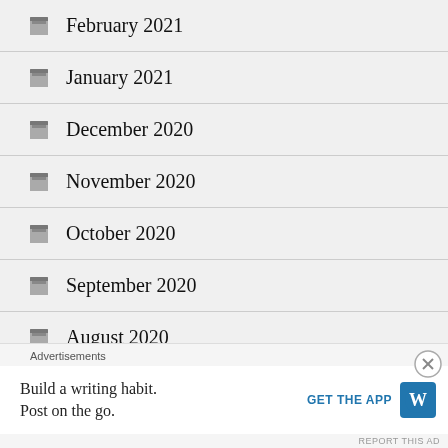February 2021
January 2021
December 2020
November 2020
October 2020
September 2020
August 2020
July 2020
Advertisements
Build a writing habit. Post on the go. GET THE APP